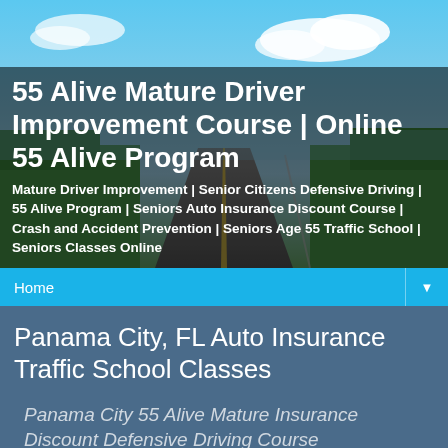[Figure (photo): A road stretching into the distance under a bright blue sky with clouds and green trees on either side, used as a hero background image for a driver improvement course website.]
55 Alive Mature Driver Improvement Course | Online 55 Alive Program
Mature Driver Improvement | Senior Citizens Defensive Driving | 55 Alive Program | Seniors Auto Insurance Discount Course | Crash and Accident Prevention | Seniors Age 55 Traffic School | Seniors Classes Online
Home ▼
Panama City, FL Auto Insurance Traffic School Classes
Panama City 55 Alive Mature Insurance Discount Defensive Driving Course